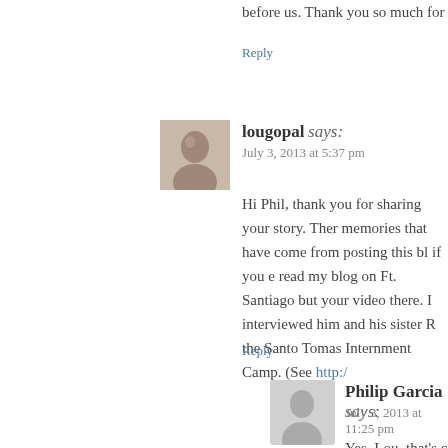before us. Thank you so much for sharing you
Reply
lougopal says: July 3, 2013 at 5:37 pm
Hi Phil, thank you for sharing your story. Ther memories that have come from posting this bl if you e read my blog on Ft. Santiago but your video there. I interviewed him and his sister R the Santo Tomas Internment Camp. (See http:/
Reply
Philip Garcia says: July 3, 2013 at 11:25 pm
Yes, Lou, that’s correct. Rosemary an cousins. Rosie has published her mem think, is still working on his. I must a